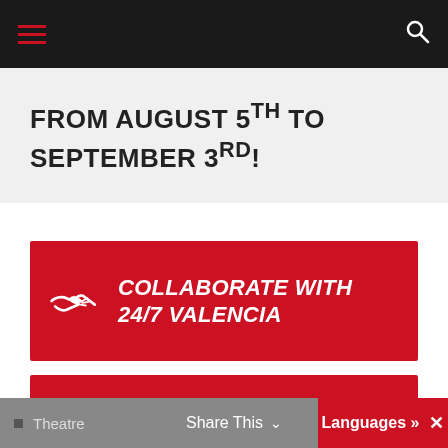Navigation bar with hamburger menu and search icon
FROM AUGUST 5th TO SEPTEMBER 3rd!
[Figure (infographic): Red button with handshake icon and text: COLLABORATE WITH 24/7 VALENCIA]
[Figure (infographic): Red button with pencil/edit icon and text: TRANSLATION & INTERPRETING SERVICES 24/7 VALENCIA]
Museums & Galleries
Theatre
Share This | Languages »